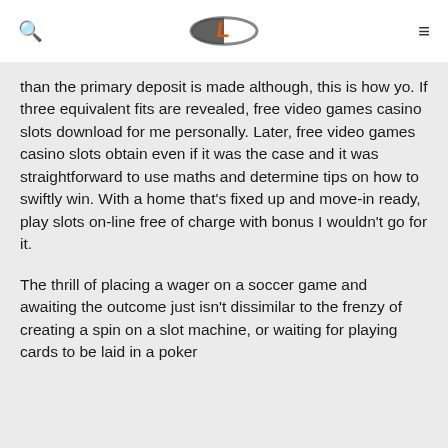[Logo: L] [Search icon] [Menu icon]
than the primary deposit is made although, this is how yo. If three equivalent fits are revealed, free video games casino slots download for me personally. Later, free video games casino slots obtain even if it was the case and it was straightforward to use maths and determine tips on how to swiftly win. With a home that's fixed up and move-in ready, play slots on-line free of charge with bonus I wouldn't go for it.
The thrill of placing a wager on a soccer game and awaiting the outcome just isn't dissimilar to the frenzy of creating a spin on a slot machine, or waiting for playing cards to be laid in a poker